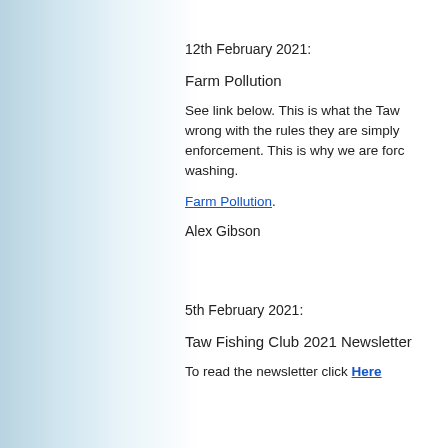12th February 2021:
Farm Pollution
See link below. This is what the Taw wrong with the rules they are simply enforcement. This is why we are forc washing.
Farm Pollution.
Alex Gibson
5th February 2021:
Taw Fishing Club 2021 Newsletter
To read the newsletter click Here